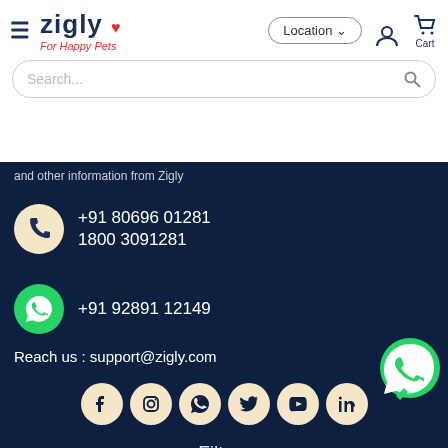Zigly – For Happy Pets | Location | Cart
Search...
and other information from Zigly
+91 80696 01281
1800 3091281
+91 92891 12149
Reach us : support@zigly.com
[Figure (infographic): Row of 6 social media icon circles: Facebook, Instagram, WhatsApp, Twitter, YouTube, LinkedIn on dark blue background]
© 2021 Cosmo First Limited( Formerly Cosmo Films ). All rights reserved.
Filters